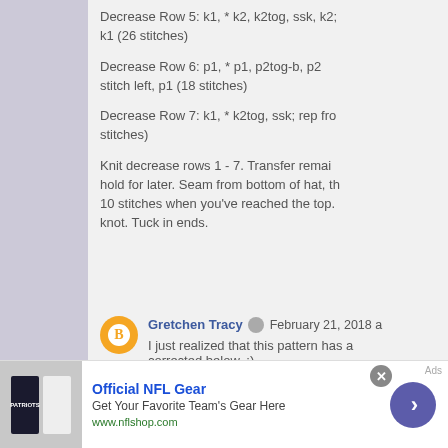Decrease Row 5: k1, * k2, k2tog, ssk, k2; rep from * to last stitch, k1 (26 stitches)
Decrease Row 6: p1, * p1, p2tog-b, p2tog, p1; rep from * to last stitch left, p1 (18 stitches)
Decrease Row 7: k1, * k2tog, ssk; rep from * to last stitch, k1 (10 stitches)
Knit decrease rows 1 - 7. Transfer remaining stitches to a single needle and hold for later. Seam from bottom of hat, then thread yarn through the remaining 10 stitches when you've reached the top. Pull tight and tie a knot. Tuck in ends.
Gretchen Tracy  February 21, 2018 a
I just realized that this pattern has a corrected below. :)